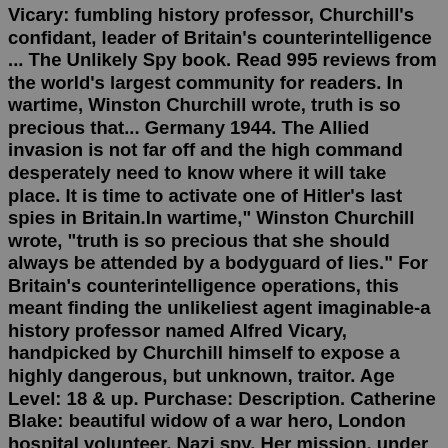Vicary: fumbling history professor, Churchill's confidant, leader of Britain's counterintelligence ... The Unlikely Spy book. Read 995 reviews from the world's largest community for readers. In wartime, Winston Churchill wrote, truth is so precious that... Germany 1944. The Allied invasion is not far off and the high command desperately need to know where it will take place. It is time to activate one of Hitler's last spies in Britain.In wartime," Winston Churchill wrote, "truth is so precious that she should always be attended by a bodyguard of lies." For Britain's counterintelligence operations, this meant finding the unlikeliest agent imaginable-a history professor named Alfred Vicary, handpicked by Churchill himself to expose a highly dangerous, but unknown, traitor. Age Level: 18 & up. Purchase: Description. Catherine Blake: beautiful widow of a war hero, London hospital volunteer, Nazi spy. Her mission, under direct orders from Hitler: uncover the Allied plans for D-Day and seal the German victory. Alfred Vicary: fumbling history professor, Churchill's